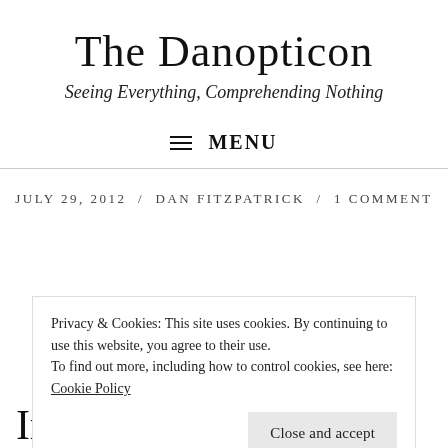The Danopticon
Seeing Everything, Comprehending Nothing
≡ MENU
JULY 29, 2012 / DAN FITZPATRICK / 1 COMMENT
Privacy & Cookies: This site uses cookies. By continuing to use this website, you agree to their use.
To find out more, including how to control cookies, see here: Cookie Policy
Close and accept
Irish Country, Part II